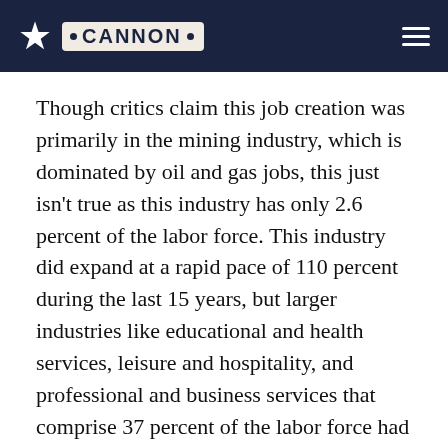CANNON
Though critics claim this job creation was primarily in the mining industry, which is dominated by oil and gas jobs, this just isn't true as this industry has only 2.6 percent of the labor force. This industry did expand at a rapid pace of 110 percent during the last 15 years, but larger industries like educational and health services, leisure and hospitality, and professional and business services that comprise 37 percent of the labor force had substantially more job creation since 2000.